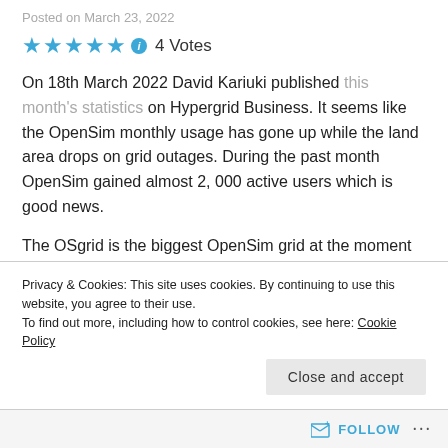Posted on March 23, 2022
★★★★★ ℹ 4 Votes
On 18th March 2022 David Kariuki published this month's statistics on Hypergrid Business. It seems like the OpenSim monthly usage has gone up while the land area drops on grid outages. During the past month OpenSim gained almost 2, 000 active users which is good news.
The OSgrid is the biggest OpenSim grid at the moment with 35, 553 regions with Kitely in second place with 18, 936 regions which is quite a difference
Privacy & Cookies: This site uses cookies. By continuing to use this website, you agree to their use.
To find out more, including how to control cookies, see here: Cookie Policy
Close and accept